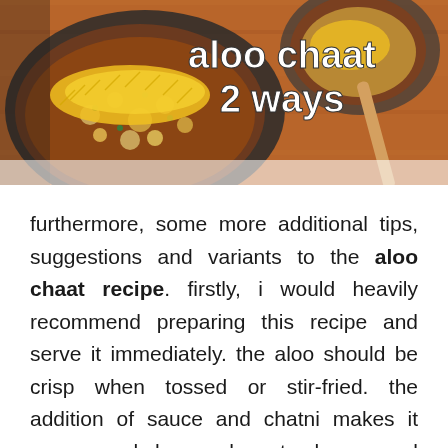[Figure (photo): Photo of aloo chaat dish in a metal bowl on a wooden board, garnished with yellow sev. White bold text overlay reads 'aloo chaat 2 ways'.]
furthermore, some more additional tips, suggestions and variants to the aloo chaat recipe. firstly, i would heavily recommend preparing this recipe and serve it immediately. the aloo should be crisp when tossed or stir-fried. the addition of sauce and chatni makes it soggy and hence has to be served immediately. secondly, i have not prepared and added ragda sauce or channa curry on top of aloo chaat. i personally do not recommend it